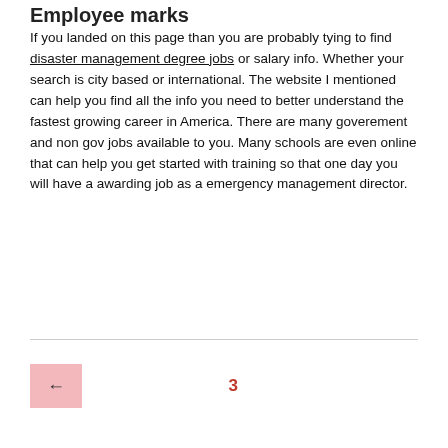Employee marks
If you landed on this page than you are probably tying to find disaster management degree jobs or salary info. Whether your search is city based or international. The website I mentioned can help you find all the info you need to better understand the fastest growing career in America. There are many goverement and non gov jobs available to you. Many schools are even online that can help you get started with training so that one day you will have a awarding job as a emergency management director.
← 3